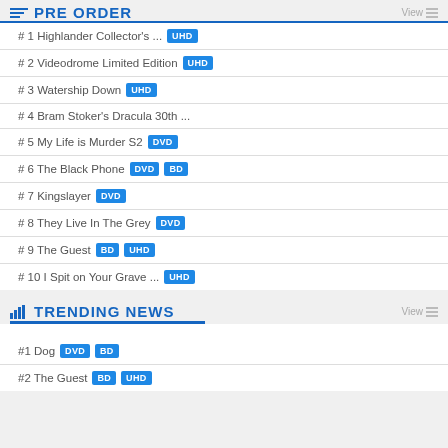PRE ORDER
#1 Highlander Collector's ... UHD
#2 Videodrome Limited Edition UHD
#3 Watership Down UHD
#4 Bram Stoker's Dracula 30th ...
#5 My Life is Murder S2 DVD
#6 The Black Phone DVD BD
#7 Kingslayer DVD
#8 They Live In The Grey DVD
#9 The Guest BD UHD
#10 I Spit on Your Grave ... UHD
TRENDING NEWS
#1 Dog DVD BD
#2 The Guest BD UHD